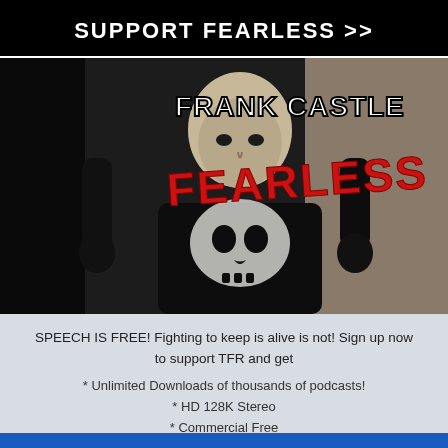SUPPORT FEARLESS >>
[Figure (illustration): Album art showing a man with a skull logo on his shirt. Text overlaid: 'FRANK CASTLE' in white bold font and 'FEARLESS' in red dripping horror font.]
SPEECH IS FREE! Fighting to keep is alive is not! Sign up now to support TFR and get
* Unlimited Downloads of thousands of podcasts!
* HD 128K Stereo
* Commercial Free